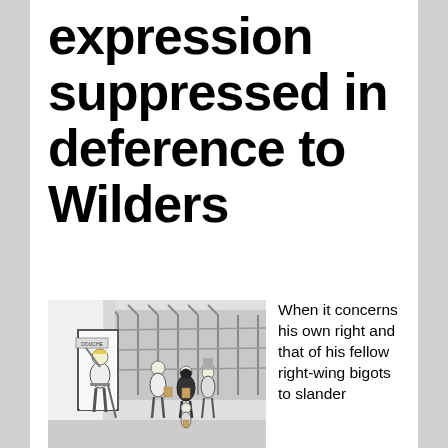expression suppressed in deference to Wilders
[Figure (illustration): Black and white illustration showing a person with blond hair directing a group of people (appearing to be of Middle Eastern appearance, some wearing religious garments) toward a door labeled 'DOUCHE', behind a security fence with barbed wire.]
When it concerns his own right and that of his fellow right-wing bigots to slander